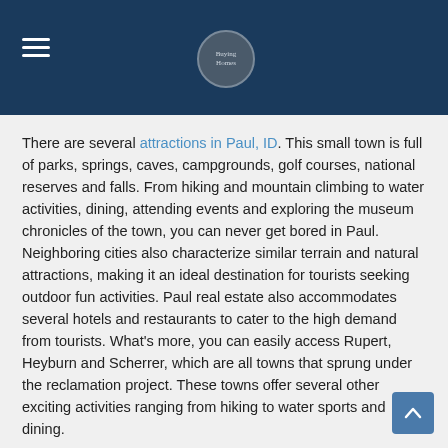Navigation header with hamburger menu and site logo
There are several attractions in Paul, ID. This small town is full of parks, springs, caves, campgrounds, golf courses, national reserves and falls. From hiking and mountain climbing to water activities, dining, attending events and exploring the museum chronicles of the town, you can never get bored in Paul. Neighboring cities also characterize similar terrain and natural attractions, making it an ideal destination for tourists seeking outdoor fun activities. Paul real estate also accommodates several hotels and restaurants to cater to the high demand from tourists. What's more, you can easily access Rupert, Heyburn and Scherrer, which are all towns that sprung under the reclamation project. These towns offer several other exciting activities ranging from hiking to water sports and dining.
History of Paul
Paul was named after engineer Charles H. Paul, who was a leader in the Minidoka Reclamation Project. The town was founded back in 1907 after the government allowed settlers to apply for land ownership and settlement in the region. This also coincided with the reclamation project that made it